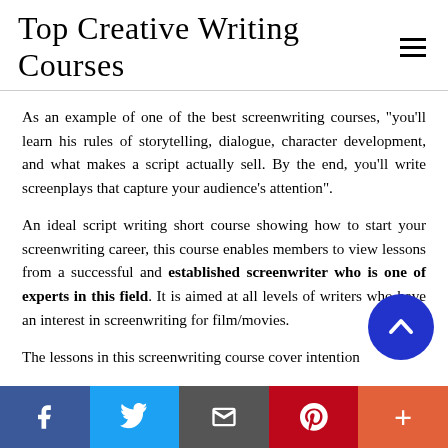Top Creative Writing Courses
As an example of one of the best screenwriting courses, "you'll learn his rules of storytelling, dialogue, character development, and what makes a script actually sell. By the end, you'll write screenplays that capture your audience's attention".
An ideal script writing short course showing how to start your screenwriting career, this course enables members to view lessons from a successful and established screenwriter who is one of experts in this field. It is aimed at all levels of writers who have an interest in screenwriting for film/movies.
The lessons in this screenwriting course cover intention
[Figure (other): Blue circular scroll-to-top button with upward chevron arrow]
f | Twitter bird | Email | Pinterest | +